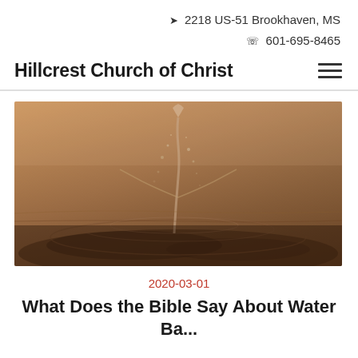2218 US-51 Brookhaven, MS
601-695-8465
Hillcrest Church of Christ
[Figure (photo): Close-up sepia-toned photo of water splashing on a surface, showing a water droplet impact with ripples and spray]
2020-03-01
What Does the Bible Say About Water Baptism